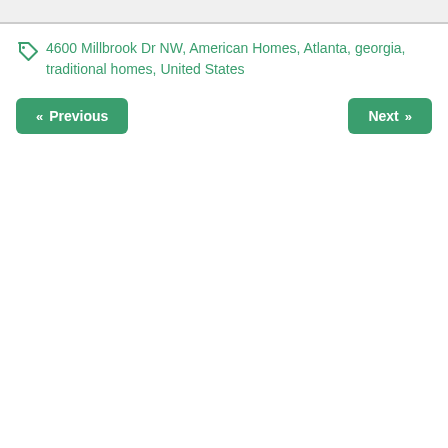4600 Millbrook Dr NW, American Homes, Atlanta, georgia, traditional homes, United States